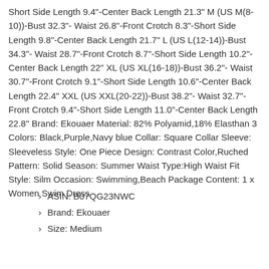Short Side Length 9.4"-Center Back Length 21.3" M (US M(8-10))-Bust 32.3"- Waist 26.8"-Front Crotch 8.3"-Short Side Length 9.8"-Center Back Length 21.7" L (US L(12-14))-Bust 34.3"- Waist 28.7"-Front Crotch 8.7"-Short Side Length 10.2"-Center Back Length 22" XL (US XL(16-18))-Bust 36.2"- Waist 30.7"-Front Crotch 9.1"-Short Side Length 10.6"-Center Back Length 22.4" XXL (US XXL(20-22))-Bust 38.2"- Waist 32.7"-Front Crotch 9.4"-Short Side Length 11.0"-Center Back Length 22.8" Brand: Ekouaer Material: 82% Polyamid,18% Elasthan 3 Colors: Black,Purple,Navy blue Collar: Square Collar Sleeve: Sleeveless Style: One Piece Design: Contrast Color,Ruched Pattern: Solid Season: Summer Waist Type:High Waist Fit Style: Silm Occasion: Swimming,Beach Package Content: 1 x Women Swim Dress
ASIN: B07QG23NWC
Brand: Ekouaer
Size: Medium